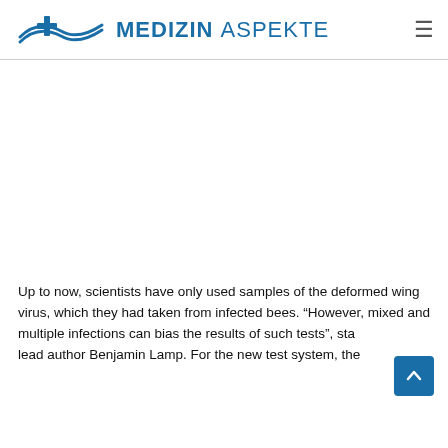MEDIZIN ASPEKTE
Up to now, scientists have only used samples of the deformed wing virus, which they had taken from infected bees. “However, mixed and multiple infections can bias the results of such tests”, stated lead author Benjamin Lamp. For the new test system, the